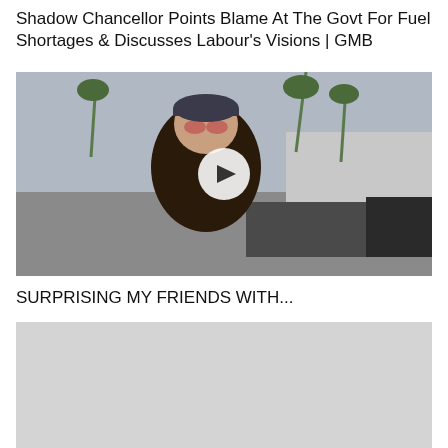Shadow Chancellor Points Blame At The Govt For Fuel Shortages & Discusses Labour's Visions | GMB
[Figure (photo): Video thumbnail showing a man in a leather jacket wearing red tinted sunglasses and a backwards cap, smiling, outdoors with palm trees and a street scene in background. A white play button circle is overlaid in the center.]
SURPRISING MY FRIENDS WITH...
[Figure (photo): Partially visible second video thumbnail with light gray/white background, content not fully visible.]